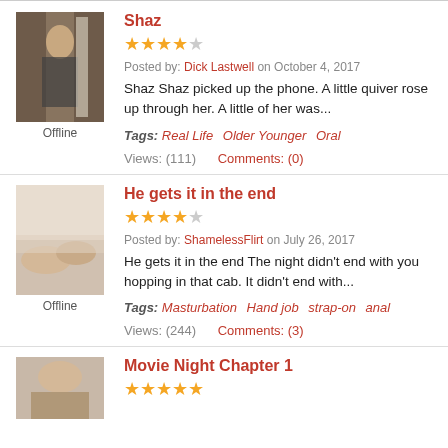[Figure (photo): Avatar photo of user Shaz, person in room, partially silhouetted]
Offline
Shaz
★★★★☆ (4 out of 5 stars)
Posted by: Dick Lastwell on October 4, 2017
Shaz Shaz picked up the phone. A little quiver rose up through her. A little of her was...
Tags: Real Life   Older Younger   Oral
Views: (111)    Comments: (0)
[Figure (photo): Avatar photo showing feet/legs on bedding]
Offline
He gets it in the end
★★★★☆ (4 out of 5 stars)
Posted by: ShamelessFlirt on July 26, 2017
He gets it in the end The night didn't end with you hopping in that cab. It didn't end with...
Tags: Masturbation   Hand job   strap-on   anal
Views: (244)    Comments: (3)
[Figure (photo): Avatar photo partial, partial view of person]
Movie Night Chapter 1
★★★★★ (5 out of 5 stars)